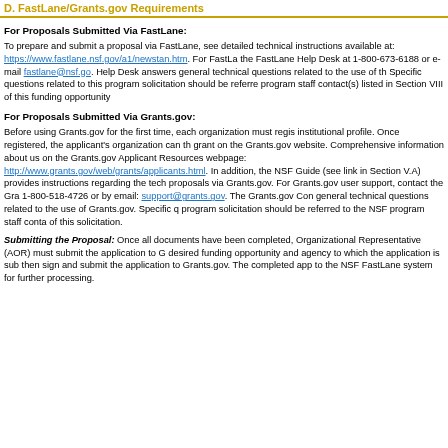D. FastLane/Grants.gov Requirements
For Proposals Submitted Via FastLane:
To prepare and submit a proposal via FastLane, see detailed technical instructions available at: https://www.fastlane.nsf.gov/a1/newstan.htm. For FastLane assistance, contact the FastLane Help Desk at 1-800-673-6188 or e-mail fastlane@nsf.gov. The FastLane Help Desk answers general technical questions related to the use of the FastLane system. Specific questions related to this program solicitation should be referred to the NSF program staff contact(s) listed in Section VIII of this funding opportunity.
For Proposals Submitted Via Grants.gov:
Before using Grants.gov for the first time, each organization must register to create an institutional profile. Once registered, the applicant's organization can then apply for any federal grant on the Grants.gov website. Comprehensive information about using Grants.gov is available on the Grants.gov Applicant Resources webpage: http://www.grants.gov/web/grants/applicants.html. In addition, the NSF Grants.gov Application Guide (see link in Section V.A) provides instructions regarding the technical preparation of proposals via Grants.gov. For Grants.gov user support, contact the Grants.gov Contact Center at 1-800-518-4726 or by email: support@grants.gov. The Grants.gov Contact Center answers general technical questions related to the use of Grants.gov. Specific questions related to this program solicitation should be referred to the NSF program staff contact(s) listed in Section VIII of this solicitation.
Submitting the Proposal: Once all documents have been completed, the Authorized Organizational Representative (AOR) must submit the application to Grants.gov and verify the desired funding opportunity and agency to which the application is submitted. The AOR must then sign and submit the application to Grants.gov. The completed application will be transferred to the NSF FastLane system for further processing.